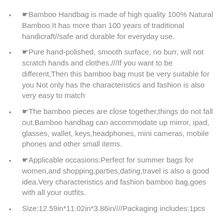☛Bamboo Handbag is made of high quality 100% Natural Bamboo.It has more than 100 years of traditional handicraft//safe and durable for everyday use.
☛Pure hand-polished, smooth surface, no burr, will not scratch hands and clothes.///If you want to be different,Then this bamboo bag must be very suitable for you Not only has the characteristics and fashion is also very easy to match
☛The bamboo pieces are close together,things do not fall out.Bamboo handbag can accommodate up mirror, ipad, glasses, wallet, keys,headphones, mini cameras, mobile phones and other small items.
☛Applicable occasions:Perfect for summer bags for women,and shopping,parties,dating,travel is also a good idea.Very characteristics and fashion bamboo bag,goes with all your outfits.
Size:12.59in*11.02in*3.86in////Packaging includes:1pcs